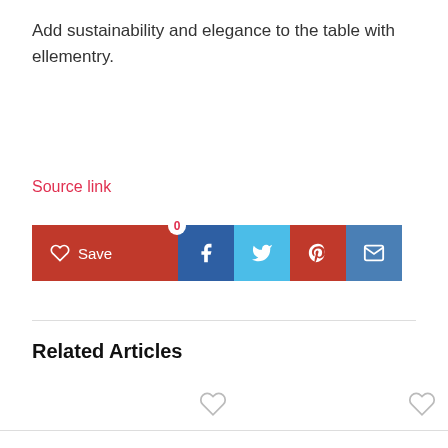Add sustainability and elegance to the table with ellementry.
Source link
[Figure (other): Social share bar with Save button, Facebook, Twitter, Pinterest, and Email share buttons]
Related Articles
[Figure (other): Heart outline icons for article save/like buttons at bottom of page]